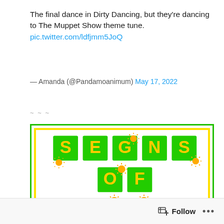The final dance in Dirty Dancing, but they're dancing to The Muppet Show theme tune. pic.twitter.com/ldfjmm5JoQ
— Amanda (@Pandamoanimum) May 17, 2022
~ ~ ~
[Figure (illustration): Colorful 'SIGNS OF SUMMER' text art with green square tiles, yellow letters and sun symbols on green background]
Follow ...